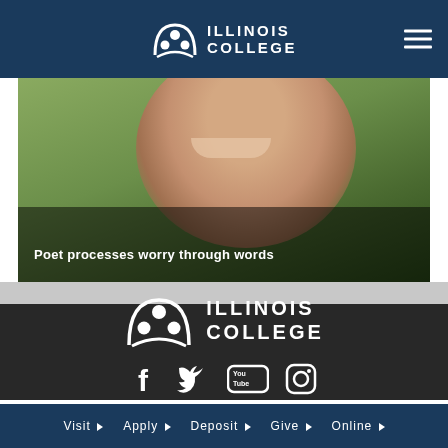ILLINOIS COLLEGE
[Figure (photo): Close-up photo of a smiling person outdoors with green background, partially cropped]
Poet processes worry through words
[Figure (logo): Illinois College logo - white arch with figures above text ILLINOIS COLLEGE on dark background]
[Figure (infographic): Social media icons: Facebook, Twitter, YouTube, Instagram]
Online Complaint Form
Visit  Apply  Deposit  Give  Online